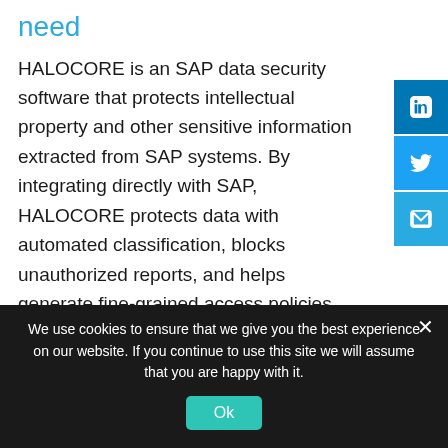need
HALOCORE is an SAP data security software that protects intellectual property and other sensitive information extracted from SAP systems. By integrating directly with SAP, HALOCORE protects data with automated classification, blocks unauthorized reports, and helps generate fine-grained access policies.
HALOCORE met all the needs
We use cookies to ensure that we give you the best experience on our website. If you continue to use this site we will assume that you are happy with it.